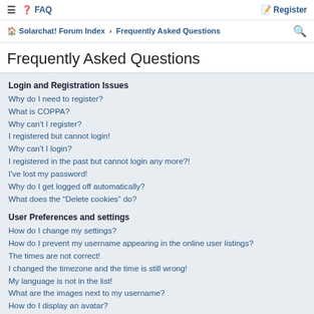≡ ❓ FAQ | Register
🏠 Solarchat! Forum Index › Frequently Asked Questions 🔍
Frequently Asked Questions
Login and Registration Issues
Why do I need to register?
What is COPPA?
Why can't I register?
I registered but cannot login!
Why can't I login?
I registered in the past but cannot login any more?!
I've lost my password!
Why do I get logged off automatically?
What does the "Delete cookies" do?
User Preferences and settings
How do I change my settings?
How do I prevent my username appearing in the online user listings?
The times are not correct!
I changed the timezone and the time is still wrong!
My language is not in the list!
What are the images next to my username?
How do I display an avatar?
What is my rank and how do I change it?
When I click the email link for a user it asks me to login?